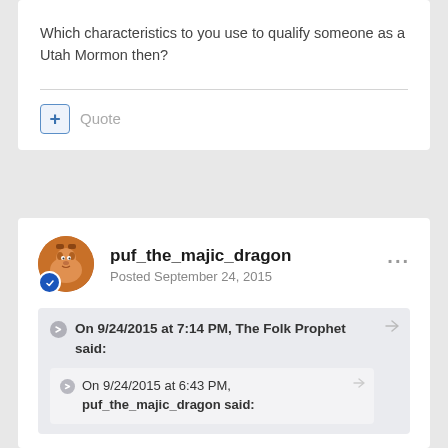Which characteristics to you use to qualify someone as a Utah Mormon then?
+ Quote
puf_the_majic_dragon
Posted September 24, 2015
On 9/24/2015 at 7:14 PM, The Folk Prophet said:
On 9/24/2015 at 6:43 PM, puf_the_majic_dragon said: